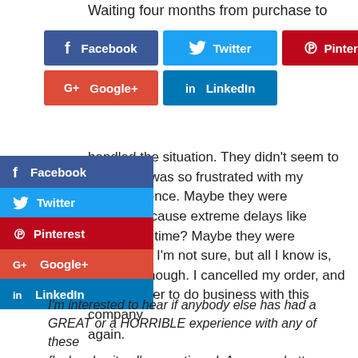Waiting four months from purchase to
[Figure (infographic): Social share buttons: Facebook (blue), Twitter (cyan), Pinterest (red), Google+ (red-orange), LinkedIn (teal)]
handled the situation. They didn't seem to and why I was so frustrated with my ing experience. Maybe they were ed by it because extreme delays like pen all the time? Maybe they were itized to it? I'm not sure, but all I know is, it wasn't enough. I cancelled my order, and vowed never to do business with this company again.
[Figure (infographic): Floating side social share buttons: Facebook, Twitter, Pinterest, Google+, LinkedIn]
I'm interested to hear if anybody else has had a GREAT or a HORRIBLE experience with any of these flash sale sites I've mentioned. Are some better